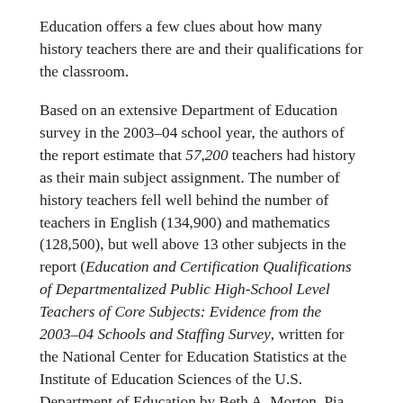Education offers a few clues about how many history teachers there are and their qualifications for the classroom.
Based on an extensive Department of Education survey in the 2003–04 school year, the authors of the report estimate that 57,200 teachers had history as their main subject assignment. The number of history teachers fell well behind the number of teachers in English (134,900) and mathematics (128,500), but well above 13 other subjects in the report (Education and Certification Qualifications of Departmentalized Public High-School Level Teachers of Core Subjects: Evidence from the 2003–04 Schools and Staffing Survey, written for the National Center for Education Statistics at the Institute of Education Sciences of the U.S. Department of Education by Beth A. Morton, Pia Peltola, Michael Hurwitz, Greg F. Orlofsky, and Gregory A. Strizek, and available online only at